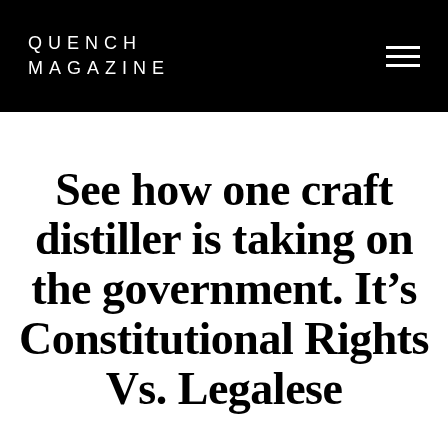QUENCH MAGAZINE
See how one craft distiller is taking on the government. It’s Constitutional Rights Vs. Legalese